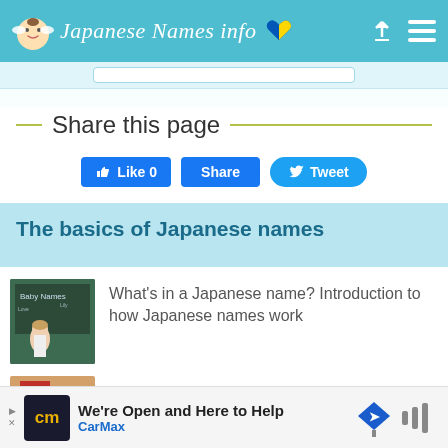Japanese Names info
Share this page
[Figure (screenshot): Social sharing buttons: Like 0, Share, Tweet]
The basics of Japanese names
[Figure (photo): Woman standing in front of a chalkboard with Baby Names written on it]
What's in a Japanese name? Introduction to how Japanese names work
[Figure (photo): Red and brown objects on a table with a coffee cup]
How creative and artistic Japanese naming can be
[Figure (screenshot): CarMax advertisement: We're Open and Here to Help]